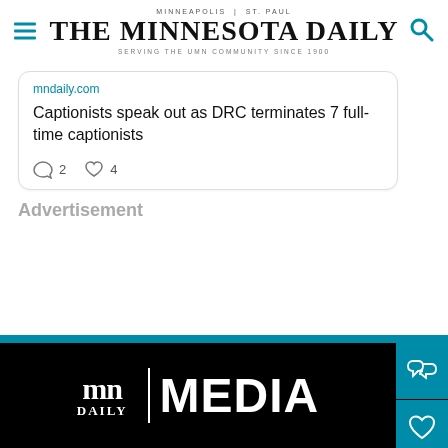MINNEAPOLIS   |   ST. PAUL
THE MINNESOTA DAILY
SERVING THE UMN COMMUNITY SINCE 1900
mndaily.com
Captionists speak out as DRC terminates 7 full-time captionists
[comment icon] 2  [heart icon] 4
Advertisement
[Figure (logo): mn Daily | MEDIA logo on black background with teal side buttons showing chat and heart icons]